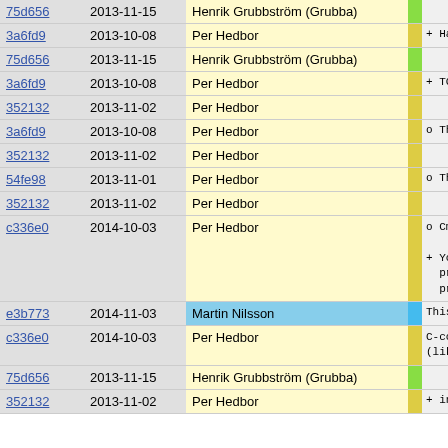| Hash | Date | Author |  | Content |
| --- | --- | --- | --- | --- |
| 75d656 | 2013-11-15 | Henrik Grubbström (Grubba) |  |  |
| 3a6fd9 | 2013-10-08 | Per Hedbor |  | + Handle f |
| 75d656 | 2013-11-15 | Henrik Grubbström (Grubba) |  |  |
| 3a6fd9 | 2013-10-08 | Per Hedbor |  | + TCP clie |
| 352132 | 2013-11-02 | Per Hedbor |  |  |
| 3a6fd9 | 2013-10-08 | Per Hedbor |  | o Thread no |
| 352132 | 2013-11-02 | Per Hedbor |  |  |
| 54fe98 | 2013-11-01 | Per Hedbor |  | o Thread.Fa |
| 352132 | 2013-11-02 | Per Hedbor |  |  |
| c336e0 | 2014-10-03 | Per Hedbor |  | o Cmod prec
+ You can
preproce
precomp |
| e3b773 | 2014-11-03 | Martin Nilsson |  | This pre |
| c336e0 | 2014-10-03 | Per Hedbor |  | C-compi
(like be |
| 75d656 | 2013-11-15 | Henrik Grubbström (Grubba) |  |  |
| 352132 | 2013-11-02 | Per Hedbor |  | + inherit |